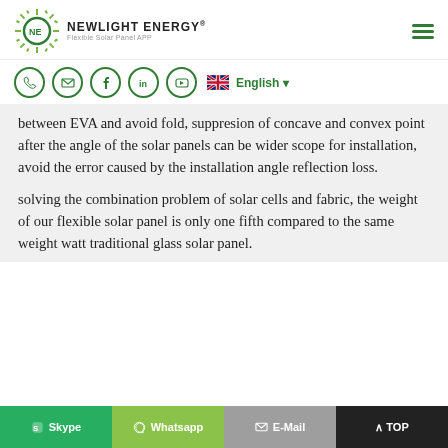NEWLIGHT ENERGY® Flexible Solar Panel APP
between EVA and avoid fold, suppresion of concave and convex point after the angle of the solar panels can be wider scope for installation, avoid the error caused by the installation angle reflection loss.
solving the combination problem of solar cells and fabric, the weight of our flexible solar panel is only one fifth compared to the same weight watt traditional glass solar panel.
Skype   Whatsapp   E-Mail   TOP